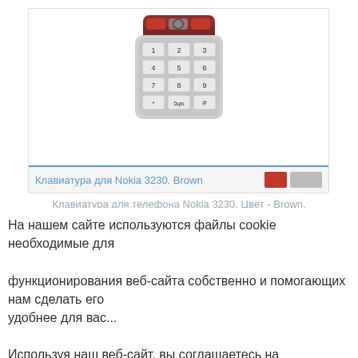[Figure (screenshot): Product card showing Nokia 3230 Brown keypad image with blue underline title bar and color swatches]
Клавиатура для Nokia 3230. Brown
Клавиатура для телефона Nokia 3230. Цвет - Brown.
На нашем сайте используются файлы cookie необходимые для функционирования веб-сайта собственно и помогающих нам сделать его удобнее для вас.

Используя наш веб-сайт, вы соглашаетесь на использование файлов cookie
Подробнее
Хорошо. Спасибо.